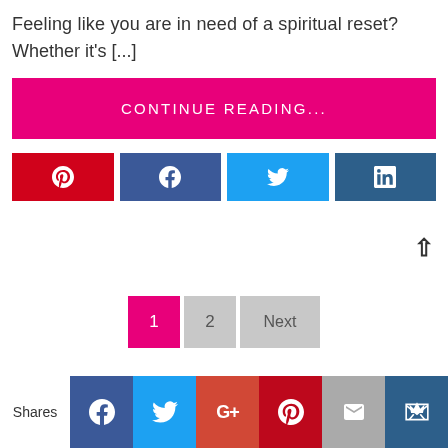Feeling like you are in need of a spiritual reset? Whether it's [...]
CONTINUE READING...
[Figure (other): Social share buttons row: Pinterest (red), Facebook (blue), Twitter (light blue), LinkedIn (dark blue) with icons]
1
2
Next
[Figure (other): Bottom social share bar: Shares label, Facebook, Twitter, Google+, Pinterest, Mail, Crown icons]
Shares